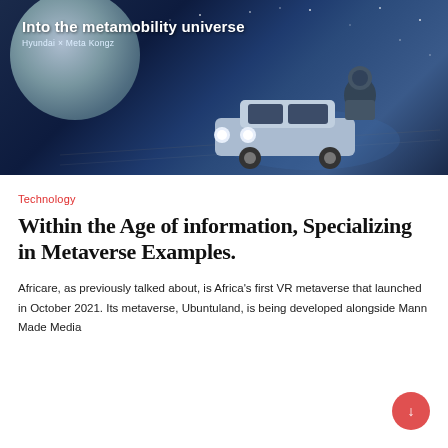[Figure (illustration): Hero image showing a space/metaverse scene with a car driving on an asteroid or moon surface, an astronaut figure, and a large moon in the background against a dark starry sky. Text overlay reads 'Into the metamobility universe' and 'Hyundai × Meta Kongz']
Technology
Within the Age of information, Specializing in Metaverse Examples.
Africare, as previously talked about, is Africa's first VR metaverse that launched in October 2021. Its metaverse, Ubuntuland, is being developed alongside Mann Made Media